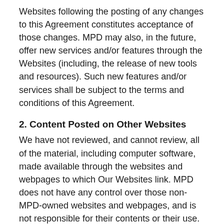Websites following the posting of any changes to this Agreement constitutes acceptance of those changes. MPD may also, in the future, offer new services and/or features through the Websites (including, the release of new tools and resources). Such new features and/or services shall be subject to the terms and conditions of this Agreement.
2. Content Posted on Other Websites
We have not reviewed, and cannot review, all of the material, including computer software, made available through the websites and webpages to which Our Websites link. MPD does not have any control over those non-MPD-owned websites and webpages, and is not responsible for their contents or their use. By linking to a non-MPD-owned website or webpage, MPD does not represent or imply that it endorses such website or webpage. You are responsible for taking precautions as necessary to protect yourself and your computer systems from viruses, worms, Trojan horses, and other